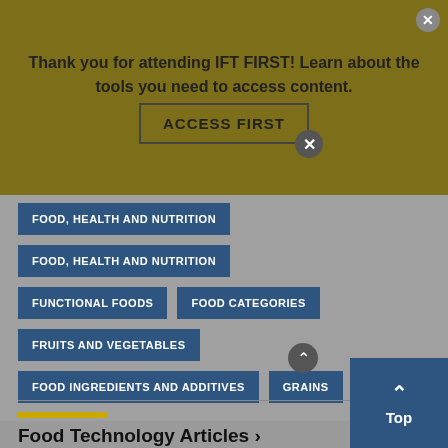Thank you for attending IFT FIRST! Learn about the tools you need to access content.
ACCESS FIRST
FOOD, HEALTH AND NUTRITION
FOOD, HEALTH AND NUTRITION
FUNCTIONAL FOODS
FOOD CATEGORIES
FRUITS AND VEGETABLES
FOOD INGREDIENTS AND ADDITIVES
GRAINS
Food Technology Articles >